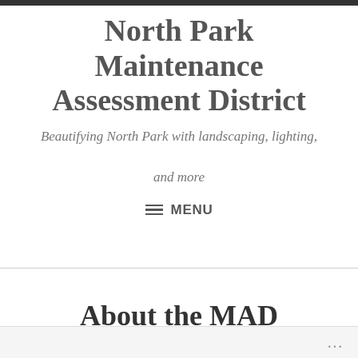North Park Maintenance Assessment District
Beautifying North Park with landscaping, lighting, and more
≡ MENU
About the MAD